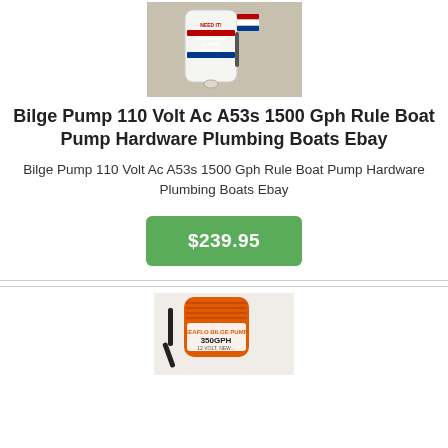[Figure (photo): White bilge pump with red/blue label text 'Need It! Garden Hose Adapter Included' and red/blue striped flag logo]
Bilge Pump 110 Volt Ac A53s 1500 Gph Rule Boat Pump Hardware Plumbing Boats Ebay
Bilge Pump 110 Volt Ac A53s 1500 Gph Rule Boat Pump Hardware Plumbing Boats Ebay
$239.95
[Figure (photo): Orange SEAFLO bilge pump labeled 350GPH, 12 Volt]